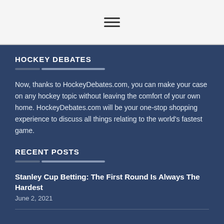☰
HOCKEY DEBATES
Now, thanks to HockeyDebates.com, you can make your case on any hockey topic without leaving the comfort of your own home. HockeyDebates.com will be your one-stop shopping experience to discuss all things relating to the world's fastest game.
RECENT POSTS
Stanley Cup Betting: The First Round Is Always The Hardest
June 2, 2021